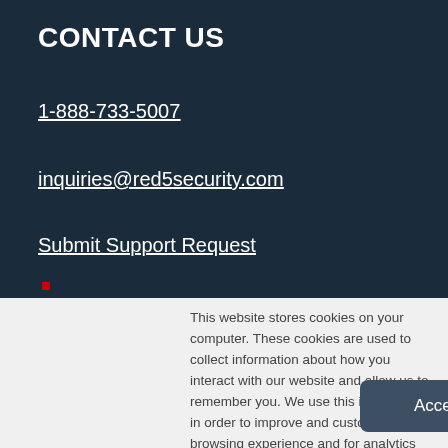CONTACT US
1-888-733-5007
inquiries@red5security.com
Submit Support Request
This website stores cookies on your computer. These cookies are used to collect information about how you interact with our website and allow us to remember you. We use this information in order to improve and customize your browsing experience and for analytics and metrics about our visitors both on this website and other media. To find out more about the cookies we use, see our Privacy Policy
Accept